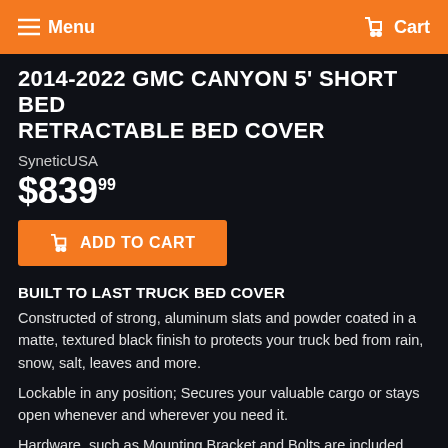Menu  Cart
2014-2022 GMC CANYON 5' SHORT BED RETRACTABLE BED COVER
SyneticUSA
$839.99
ADD TO CART
BUILT TO LAST TRUCK BED COVER
Constructed of strong, aluminum slats and powder coated in a matte, textured black finish to protects your truck bed from rain, snow, salt, leaves and more.
Lockable in any position; Secures your valuable cargo or stays open whenever and wherever you need it.
Hardware, such as Mounting Bracket and Bolts are included, and total installation is around 30 minutes